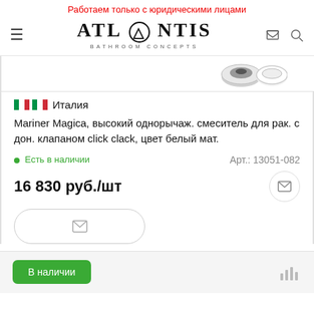Работаем только с юридическими лицами
[Figure (logo): ATLANTIS BATHROOM CONCEPTS logo with circular A emblem]
[Figure (photo): Partial product image showing two circular basin faucet top views]
🇮🇹 Италия
Mariner Magica, высокий однорычаж. смеситель для рак. с дон. клапаном click clack, цвет белый мат.
• Есть в наличии   Арт.: 13051-082
16 830 руб./шт
В наличии